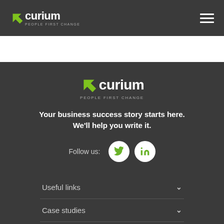[Figure (logo): Curium logo with green arrow and text 'curium PEOPLE FIRST CHANGE' on dark header bar]
[Figure (logo): Hamburger menu icon (three white horizontal lines) in top right of header]
[Figure (logo): Curium logo with green arrow and text 'curium PEOPLE FIRST CHANGE' in footer area]
Your business success story starts here. We'll help you write it.
Follow us:
[Figure (other): Twitter bird icon in white circle button]
[Figure (other): LinkedIn 'in' icon in white circle button]
Useful links
Case studies